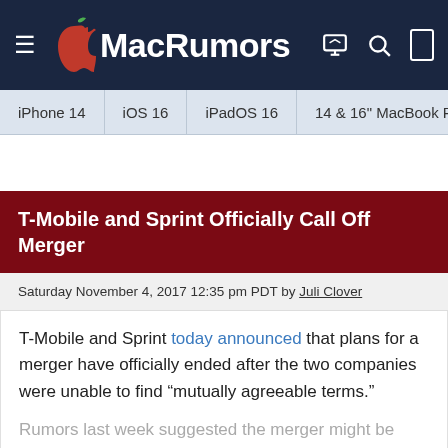MacRumors
iPhone 14   iOS 16   iPadOS 16   14 & 16" MacBook P
T-Mobile and Sprint Officially Call Off Merger
Saturday November 4, 2017 12:35 pm PDT by Juli Clover
T-Mobile and Sprint today announced that plans for a merger have officially ended after the two companies were unable to find "mutually agreeable terms."
Rumors last week suggested the merger might be called off because Sprint parent company SoftBank was having doubts about the deal over the ownership terms. SoftBank...